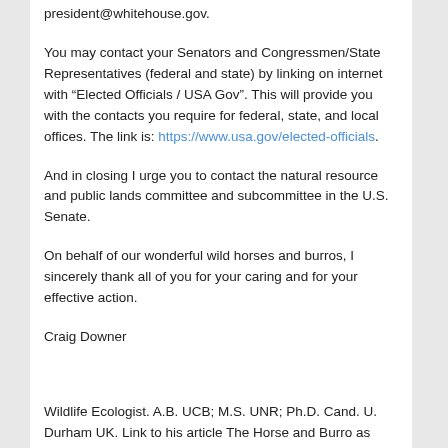president@whitehouse.gov.
You may contact your Senators and Congressmen/State Representatives (federal and state) by linking on internet with “Elected Officials / USA Gov”. This will provide you with the contacts you require for federal, state, and local offices. The link is: https://www.usa.gov/elected-officials.
And in closing I urge you to contact the natural resource and public lands committee and subcommittee in the U.S. Senate.
On behalf of our wonderful wild horses and burros, I sincerely thank all of you for your caring and for your effective action.
Craig Downer
Wildlife Ecologist. A.B. UCB; M.S. UNR; Ph.D. Cand. U. Durham UK. Link to his article The Horse and Burro as